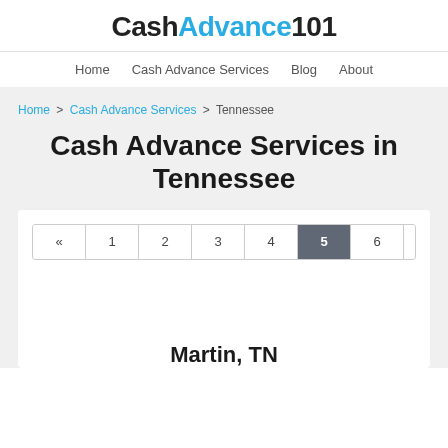CashAdvance101
Home  Cash Advance Services  Blog  About
Home > Cash Advance Services > Tennessee
Cash Advance Services in Tennessee
« 1 2 3 4 5 6 7 »
Martin, TN